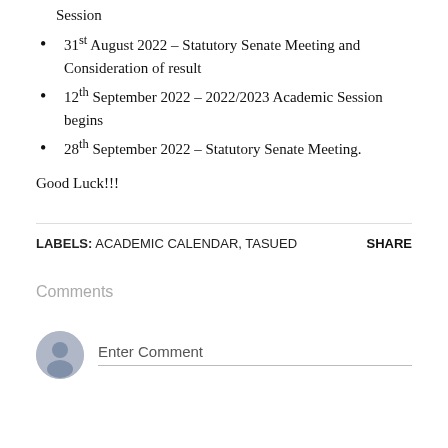12th August 2022 – End of 2021/2022 Academic Session
31st August 2022 – Statutory Senate Meeting and Consideration of result
12th September 2022 – 2022/2023 Academic Session begins
28th September 2022 – Statutory Senate Meeting.
Good Luck!!!
LABELS: ACADEMIC CALENDAR, TASUED   SHARE
Comments
Enter Comment